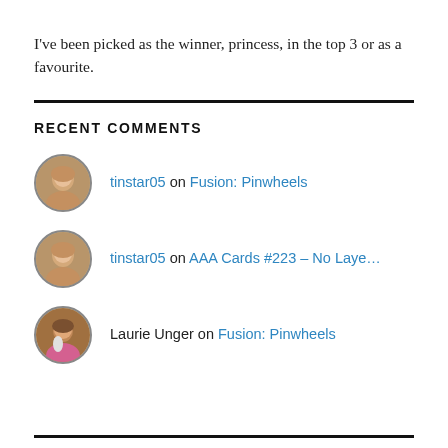I've been picked as the winner, princess, in the top 3 or as a favourite.
RECENT COMMENTS
tinstar05 on Fusion: Pinwheels
tinstar05 on AAA Cards #223 – No Laye…
Laurie Unger on Fusion: Pinwheels